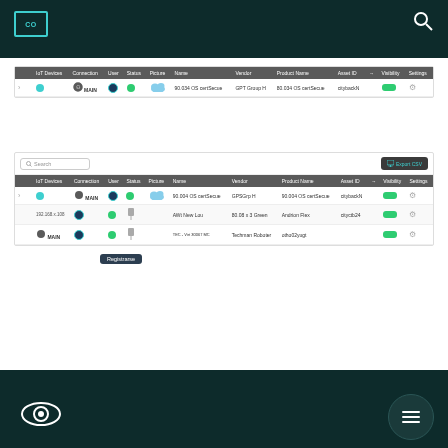[Figure (screenshot): Top navigation bar with CO logo and search icon on dark teal/green background]
| IoT Devices | Connection | User | Status | Picture | Name | Vendor | Product Name | Asset ID | → | Visibility | Settings |
| --- | --- | --- | --- | --- | --- | --- | --- | --- | --- | --- | --- |
| ● | ⊙ | MAIN | ● | ● | ☁ | 90.034 OS certSecue | GPT Group H | 80.034 OS certSecue | citybackN |  | ⚙ |
[Figure (screenshot): Second table with search bar and Export CSV button showing device management interface with 3 rows of data and a tooltip showing 'Registrarse']